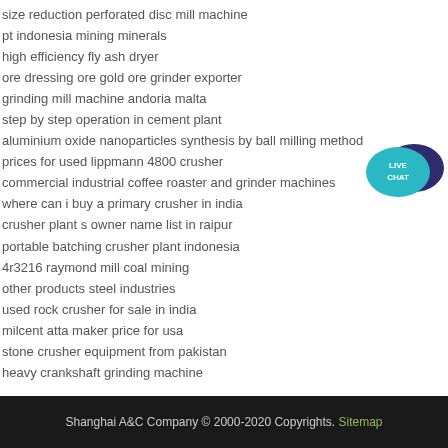size reduction perforated disc mill machine
pt indonesia mining minerals
high efficiency fly ash dryer
ore dressing ore gold ore grinder exporter
grinding mill machine andoria malta
step by step operation in cement plant
aluminium oxide nanoparticles synthesis by ball milling method
prices for used lippmann 4800 crusher
commercial industrial coffee roaster and grinder machines
where can i buy a primary crusher in india
crusher plant s owner name list in raipur
portable batching crusher plant indonesia
4r3216 raymond mill coal mining
other products steel industries
used rock crusher for sale in india
milcent atta maker price for usa
stone crusher equipment from pakistan
heavy crankshaft grinding machine
[Figure (illustration): Live chat button with speech bubble icon showing LIVE CHAT text in teal/blue colors]
Shanghai A&C Company © 2000-2020 Copyrights. Sitemap